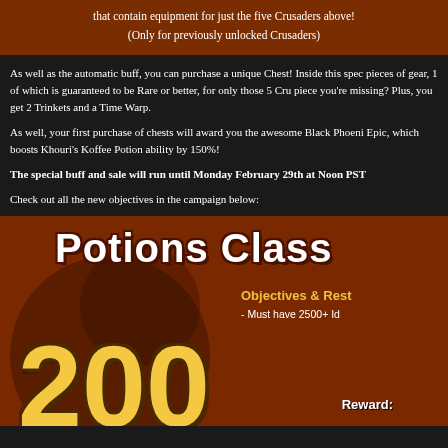that contain equipment for just the five Crusaders above! (Only for previously unlocked Crusaders)
As well as the automatic buff, you can purchase a unique Chest! Inside this spec pieces of gear, 1 of which is guaranteed to be Rare or better, for only those 5 Cru piece you're missing? Plus, you get 2 Trinkets and a Time Warp.
As well, your first purchase of chests will award you the awesome Black Phoeni Epic, which boosts Khouri's Koffee Potion ability by 150%!
The special buff and sale will run until Monday February 29th at Noon PST
Check out all the new objectives in the campaign below:
[Figure (infographic): Game campaign banner showing 'Potions Class' title with '200' in large yellow text, Objectives & Restrictions section mentioning 'Must have 2500+ Id' and a Reward section.]